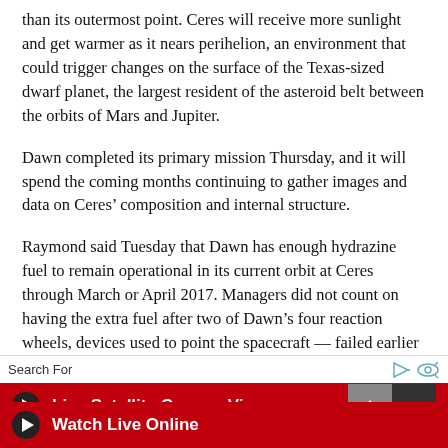than its outermost point. Ceres will receive more sunlight and get warmer as it nears perihelion, an environment that could trigger changes on the surface of the Texas-sized dwarf planet, the largest resident of the asteroid belt between the orbits of Mars and Jupiter.
Dawn completed its primary mission Thursday, and it will spend the coming months continuing to gather images and data on Ceres’ composition and internal structure.
Raymond said Tuesday that Dawn has enough hydrazine fuel to remain operational in its current orbit at Ceres through March or April 2017. Managers did not count on having the extra fuel after two of Dawn’s four reaction wheels, devices used to point the spacecraft — failed earlier in the mission.
Engineers thought the anomalies would cause Dawn to
Search For
Live Satellite Camera View
Watch Live Online